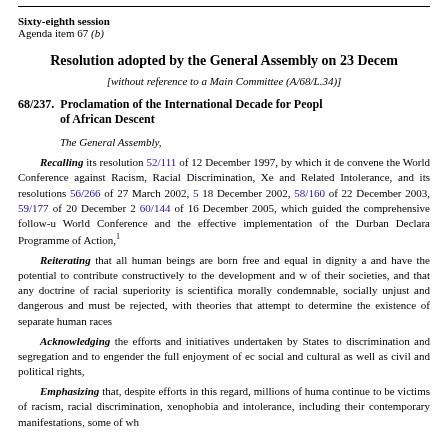Sixty-eighth session
Agenda item 67 (b)
Resolution adopted by the General Assembly on 23 December
[without reference to a Main Committee (A/68/L.34)]
68/237. Proclamation of the International Decade for People of African Descent
The General Assembly,
Recalling its resolution 52/111 of 12 December 1997, by which it decided to convene the World Conference against Racism, Racial Discrimination, Xenophobia and Related Intolerance, and its resolutions 56/266 of 27 March 2002, 57/... of 18 December 2002, 58/160 of 22 December 2003, 59/177 of 20 December 2004, 60/144 of 16 December 2005, which guided the comprehensive follow-up to the World Conference and the effective implementation of the Durban Declaration and Programme of Action,
Reiterating that all human beings are born free and equal in dignity and rights and have the potential to contribute constructively to the development and well-being of their societies, and that any doctrine of racial superiority is scientifically false, morally condemnable, socially unjust and dangerous and must be rejected, together with theories that attempt to determine the existence of separate human races,
Acknowledging the efforts and initiatives undertaken by States to combat discrimination and segregation and to engender the full enjoyment of economic, social and cultural as well as civil and political rights,
Emphasizing that, despite efforts in this regard, millions of human beings continue to be victims of racism, racial discrimination, xenophobia and related intolerance, including their contemporary manifestations, some of which...